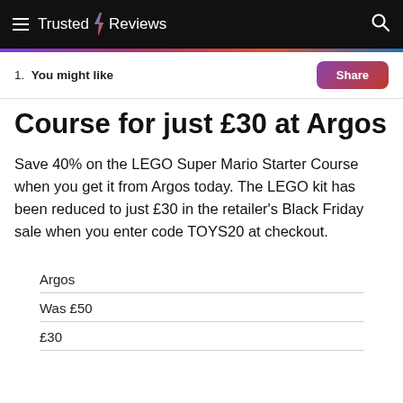Trusted Reviews
1. You might like
Course for just £30 at Argos
Save 40% on the LEGO Super Mario Starter Course when you get it from Argos today. The LEGO kit has been reduced to just £30 in the retailer's Black Friday sale when you enter code TOYS20 at checkout.
Argos
Was £50
£30